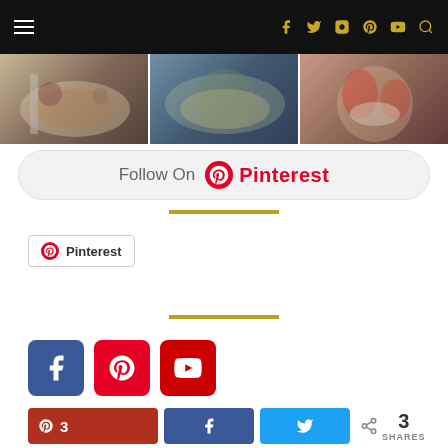Navigation bar with hamburger menu and social icons (Facebook, Twitter, Instagram, Pinterest, YouTube, Search)
[Figure (photo): Three food photos in a horizontal strip showing salads and mixed dishes]
[Figure (other): Follow On Pinterest button with Pinterest logo]
[Figure (other): Pinterest save button with Pinterest icon]
[Figure (other): Social media icons: Facebook (blue), Pinterest (red), YouTube (red)]
[Figure (other): Share buttons: Pinterest (3), Facebook, Twitter, and share count showing 3 SHARES]